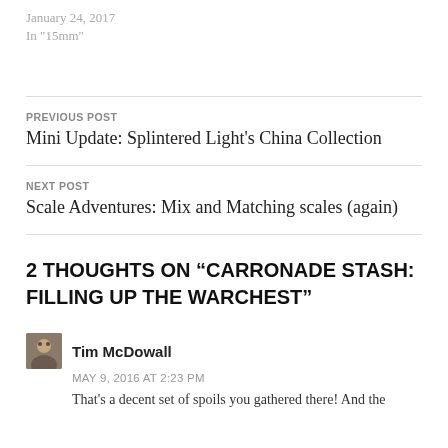January 24, 2017
In "15mm"
PREVIOUS POST
Mini Update: Splintered Light's China Collection
NEXT POST
Scale Adventures: Mix and Matching scales (again)
2 THOUGHTS ON “CARRONADE STASH: FILLING UP THE WARCHEST”
Tim McDowall
MAY 9, 2016 AT 2:23 PM
That's a decent set of spoils you gathered there! And the